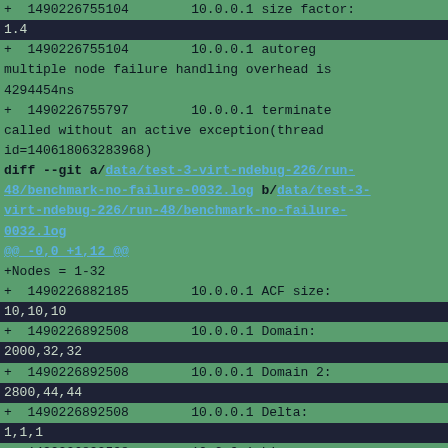+ 1490226755104        10.0.0.1 size factor: 1.4
+  1490226755104        10.0.0.1 autoreg multiple node failure handling overhead is 4294454ns
+  1490226755797        10.0.0.1 terminate called without an active exception(thread id=140618063283968)
diff --git a/data/test-3-virt-ndebug-226/run-48/benchmark-no-failure-0032.log b/data/test-3-virt-ndebug-226/run-48/benchmark-no-failure-0032.log
@@ -0,0 +1,12 @@
+Nodes = 1-32
+   1490226882185        10.0.0.1 ACF size: 10,10,10
+   1490226892508        10.0.0.1 Domain: 2000,32,32
+   1490226892508        10.0.0.1 Domain 2: 2800,44,44
+   1490226892508        10.0.0.1 Delta: 1,1,1
+   1490226892508        10.0.0.1 Linear: true
+   1490226892508        10.0.0.1 Skewness: 0.25
+   1490226892508        10.0.0.1 Kurtosis: